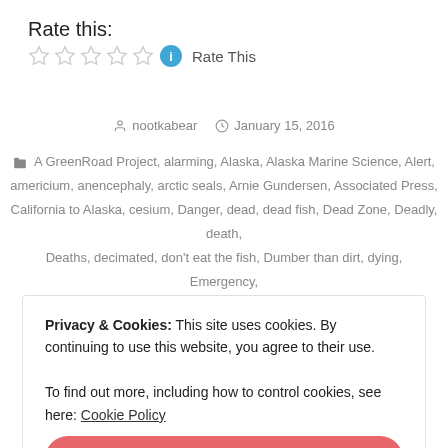Rate this:
★ ★ ★ ★ ★ Rate This
nootkabear   January 15, 2016
A GreenRoad Project, alarming, Alaska, Alaska Marine Science, Alert, americium, anencephaly, arctic seals, Arnie Gundersen, Associated Press, California to Alaska, cesium, Danger, dead, dead fish, Dead Zone, Deadly, death, Deaths, decimated, don't eat the fish, Dumber than dirt, dying, Emergency, End Game, epidemic, fish, fish dead in Alaska, Fukushima, Fukushima plutonium, GreenRoad Project, hazard, health,
Privacy & Cookies: This site uses cookies. By continuing to use this website, you agree to their use.
To find out more, including how to control cookies, see here: Cookie Policy
Close and accept
radioactive waste site, radiocesium, Radionuclide, seabirds, strontium, strotium